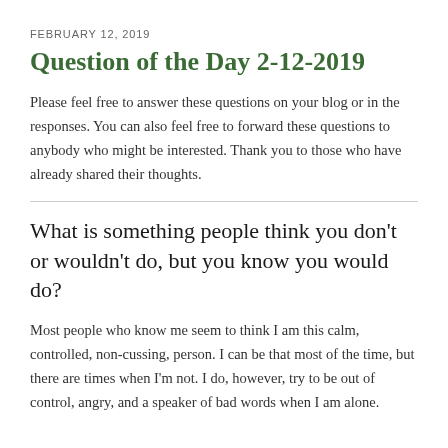FEBRUARY 12, 2019
Question of the Day 2-12-2019
Please feel free to answer these questions on your blog or in the responses. You can also feel free to forward these questions to anybody who might be interested. Thank you to those who have already shared their thoughts.
What is something people think you don’t or wouldn’t do, but you know you would do?
Most people who know me seem to think I am this calm, controlled, non-cussing, person. I can be that most of the time, but there are times when I’m not. I do, however, try to be out of control, angry, and a speaker of bad words when I am alone.